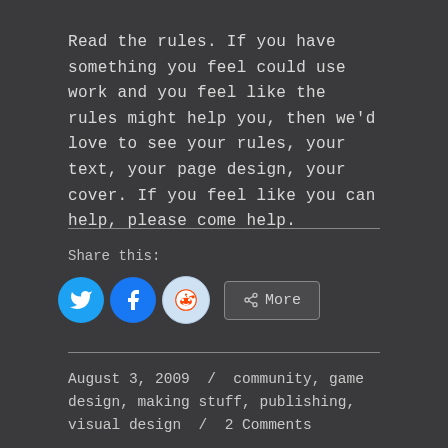Read the rules. If you have something you feel could use work and you feel like the rules might help you, then we'd love to see your rules, your text, your page design, your cover. If you feel like you can help, please come help.
Share this:
[Figure (infographic): Social share buttons: Twitter (blue bird icon), Facebook (blue f icon), Reddit (light blue alien icon), and a More button with share icon]
August 3, 2009 / community, game design, making stuff, publishing, visual design / 2 Comments